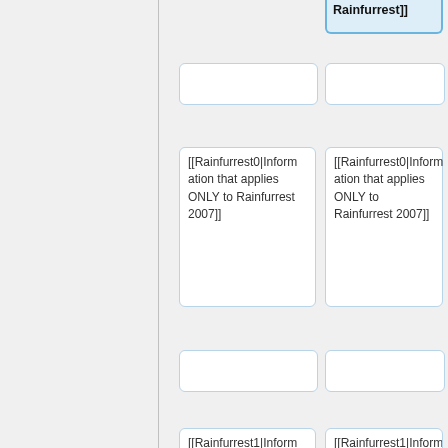[Figure (flowchart): Diff/comparison flowchart showing wiki-style content blocks for Rainfurrest 2007, 2008, 2009 with left and right columns representing edits. Blue highlighted boxes with bold text on the right column indicate new additions (marked with +). Boxes contain wiki links like [[Rainfurrest0|Information that applies ONLY to Rainfurrest 2007]], [[Rainfurrest1|...2008]], [[Rainfurrest2|...2009]], [[Rainfurrest3|...]] etc.]